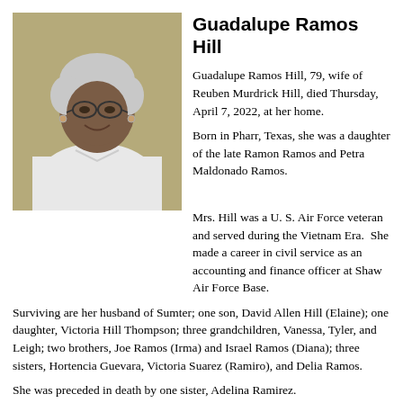[Figure (photo): Portrait photo of Guadalupe Ramos Hill, an elderly woman with short white hair and glasses, wearing a white jacket, smiling, with a yellow-green background.]
Guadalupe Ramos Hill
Guadalupe Ramos Hill, 79, wife of Reuben Murdrick Hill, died Thursday, April 7, 2022, at her home.
Born in Pharr, Texas, she was a daughter of the late Ramon Ramos and Petra Maldonado Ramos.
Mrs. Hill was a U. S. Air Force veteran and served during the Vietnam Era.  She made a career in civil service as an accounting and finance officer at Shaw Air Force Base.
Surviving are her husband of Sumter; one son, David Allen Hill (Elaine); one daughter, Victoria Hill Thompson; three grandchildren, Vanessa, Tyler, and Leigh; two brothers, Joe Ramos (Irma) and Israel Ramos (Diana); three sisters, Hortencia Guevara, Victoria Suarez (Ramiro), and Delia Ramos.
She was preceded in death by one sister, Adelina Ramirez.